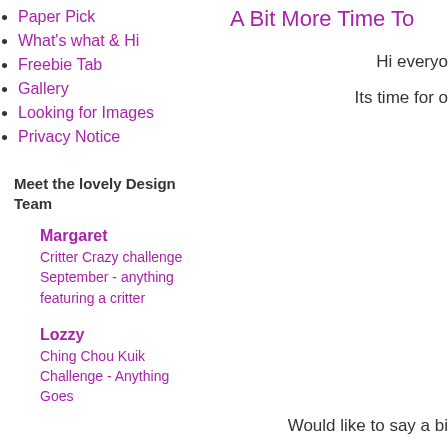Paper Pick
What's what & Hi
Freebie Tab
Gallery
Looking for Images
Privacy Notice
A Bit More Time To
Hi everyo
Its time for o
Meet the lovely Design Team
Margaret
Critter Crazy challenge
September - anything
featuring a critter
Lozzy
Ching Chou Kuik
Challenge - Anything
Goes
Would like to say a bi